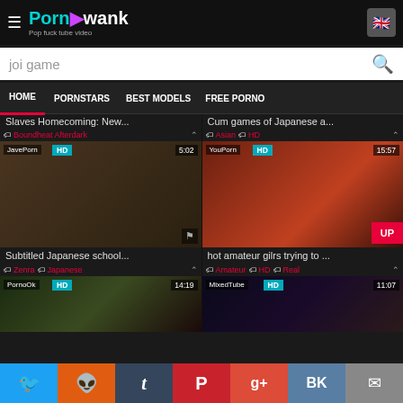PornAwank - Pop fuck tube video
joi game
HOME
PORNSTARS
BEST MODELS
FREE PORNO
Slaves Homecoming: New...
Cum games of Japanese a...
Boundheat Afterdark
Asian  HD
[Figure (screenshot): Video thumbnail: JavePorn HD 5:02 - Subtitled Japanese school...]
[Figure (screenshot): Video thumbnail: YouPorn HD 15:57 - hot amateur gilrs trying to ...]
Subtitled Japanese school...
hot amateur gilrs trying to ...
Zenra  Japanese
Amateur  HD  Real
[Figure (screenshot): Video thumbnail: PornoOk HD 14:19]
[Figure (screenshot): Video thumbnail: MixedTube HD 11:07]
Twitter Reddit Tumblr Pinterest G+ VK Email